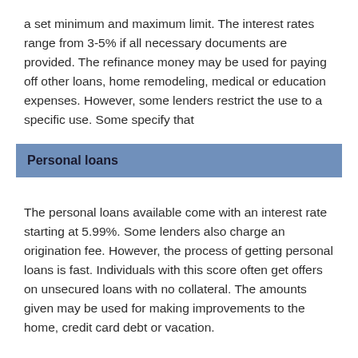a set minimum and maximum limit. The interest rates range from 3-5% if all necessary documents are provided. The refinance money may be used for paying off other loans, home remodeling, medical or education expenses. However, some lenders restrict the use to a specific use. Some specify that
Personal loans
The personal loans available come with an interest rate starting at 5.99%. Some lenders also charge an origination fee. However, the process of getting personal loans is fast. Individuals with this score often get offers on unsecured loans with no collateral. The amounts given may be used for making improvements to the home, credit card debt or vacation.